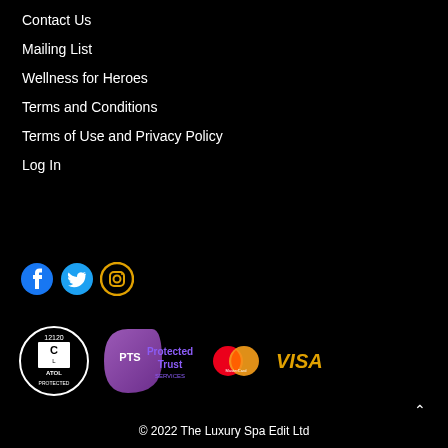Contact Us
Mailing List
Wellness for Heroes
Terms and Conditions
Terms of Use and Privacy Policy
Log In
[Figure (logo): Social media icons: Facebook, Twitter, Instagram]
[Figure (logo): Trust badges: ATOL Protected 12120, PTS Protected Trust Services, MasterCard, VISA]
© 2022 The Luxury Spa Edit Ltd